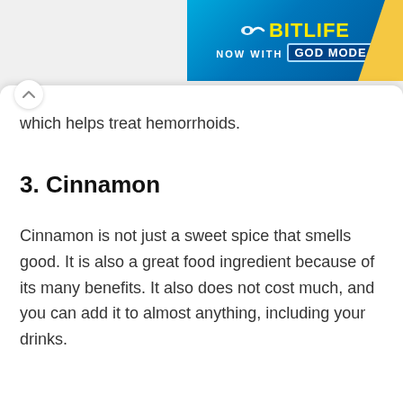[Figure (other): BitLife mobile game advertisement banner with blue gradient background, yellow logo text, 'NOW WITH GOD MODE' text in white, and yellow accent on right side]
which helps treat hemorrhoids.
3. Cinnamon
Cinnamon is not just a sweet spice that smells good. It is also a great food ingredient because of its many benefits. It also does not cost much, and you can add it to almost anything, including your drinks.